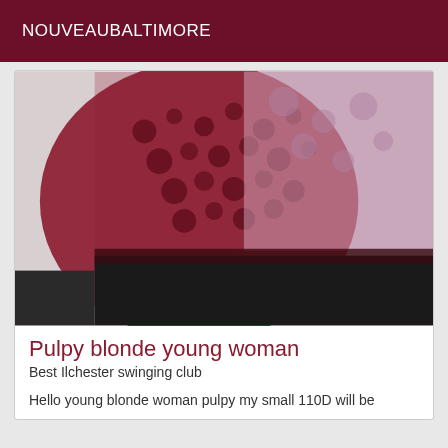NOUVEAUBALTIMORE
[Figure (photo): Close-up photo of a person wearing dark maroon/black lace lingerie or clothing against a light background. The image is cropped and partially dark at the bottom.]
Pulpy blonde young woman
Best Ilchester swinging club
Hello young blonde woman pulpy my small 110D will be